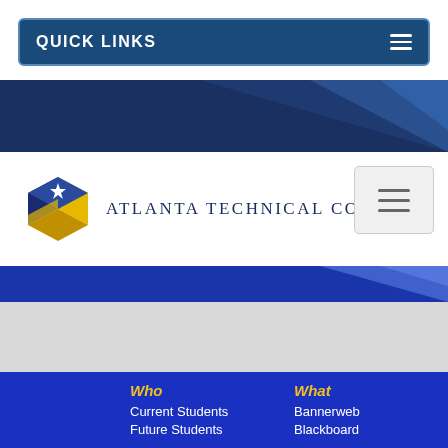QUICK LINKS
[Figure (logo): Atlanta Technical College logo with geometric cube and star, beside the text ATLANTA TECHNICAL COLLEGE]
Who
Current Students
Future Students
Parents & Families
What
Bannerweb
Blackboard
Employment